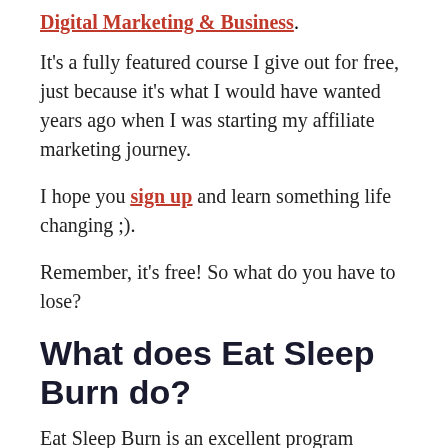Digital Marketing & Business.
It’s a fully featured course I give out for free, just because it’s what I would have wanted years ago when I was starting my affiliate marketing journey.
I hope you sign up and learn something life changing ;).
Remember, it’s free! So what do you have to lose?
What does Eat Sleep Burn do?
Eat Sleep Burn is an excellent program created